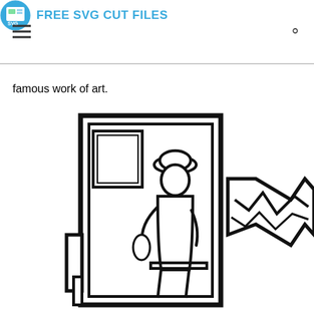FREE SVG CUT FILES
famous work of art.
[Figure (illustration): A line-art illustration showing a person (wearing a hat, seated at a desk or counter) framed within a rectangular doorway or window frame structure, with a jagged/zigzag shape to the right suggesting a second form or element. The style is bold black outlines on white, SVG cut-file aesthetic.]